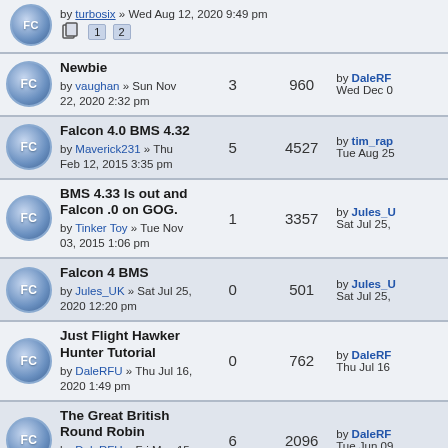by turbosix » Wed Aug 12, 2020 9:49 pm (pagination: 1, 2)
Newbie by vaughan » Sun Nov 22, 2020 2:32 pm | Replies: 3 | Views: 960 | by DaleRFU Wed Dec 0
Falcon 4.0 BMS 4.32 by Maverick231 » Thu Feb 12, 2015 3:35 pm | Replies: 5 | Views: 4527 | by tim_rap Tue Aug 25
BMS 4.33 Is out and Falcon .0 on GOG. by Tinker Toy » Tue Nov 03, 2015 1:06 pm | Replies: 1 | Views: 3357 | by Jules_U Sat Jul 25,
Falcon 4 BMS by Jules_UK » Sat Jul 25, 2020 12:20 pm | Replies: 0 | Views: 501 | by Jules_U Sat Jul 25,
Just Flight Hawker Hunter Tutorial by DaleRFU » Thu Jul 16, 2020 1:49 pm | Replies: 0 | Views: 762 | by DaleRF Thu Jul 16
The Great British Round Robin by DaleRFU » Fri May 15, 2020 3:28 am | Replies: 6 | Views: 2096 | by DaleRF Tue Jun 09
Iris Simulations *FREE* | Replies: 4 | Views: 1592 | by garysc Wed May 2